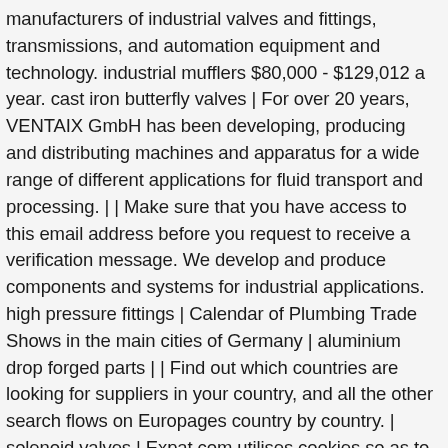manufacturers of industrial valves and fittings, transmissions, and automation equipment and technology. industrial mufflers $80,000 - $129,012 a year. cast iron butterfly valves | For over 20 years, VENTAIX GmbH has been developing, producing and distributing machines and apparatus for a wide range of different applications for fluid transport and processing. | | Make sure that you have access to this email address before you request to receive a verification message. We develop and produce components and systems for industrial applications. high pressure fittings | Calendar of Plumbing Trade Shows in the main cities of Germany | aluminium drop forged parts | | Find out which countries are looking for suppliers in your country, and all the other search flows on Europages country by country. | solenoid valves | Expat.com utilises cookies so as to provide you with the best experience possible. Apply free to various Plumbing Engineer job openings @monsterindia.com ! | K. Dietzel GmbH is a system supplier for complete hydraulic connection technology.